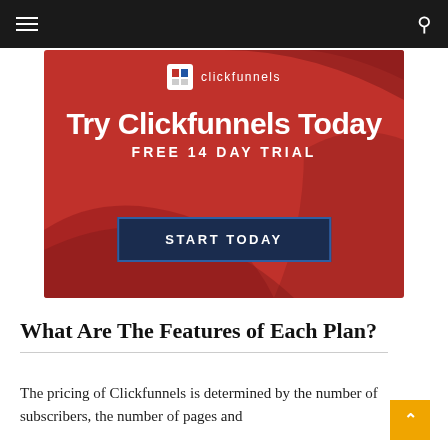Navigation bar with hamburger menu and search icon
[Figure (illustration): ClickFunnels advertisement banner with red background, wave decorations, logo, headline 'Try Clickfunnels Today FREE 14 DAY TRIAL' and dark blue 'START TODAY' button]
What Are The Features of Each Plan?
The pricing of Clickfunnels is determined by the number of subscribers, the number of pages and